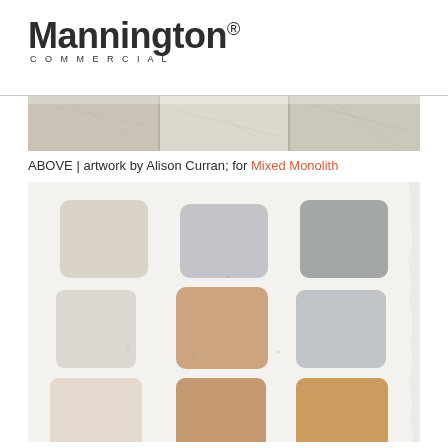[Figure (logo): Mannington Commercial logo with registered trademark symbol and 'COMMERCIAL' subtitle]
[Figure (photo): Cropped photo of textured stone or flooring surface, marble-like with light grey tones]
ABOVE | artwork by Alison Curran; for Mixed Monolith
[Figure (photo): Color swatch palette on white textured paper showing 9 paint swatches: top row - beige/cream, light grey, medium grey; middle row - light beige, warm tan/orange, light grey; bottom row - light blush/pink, medium tan/orange, golden tan]